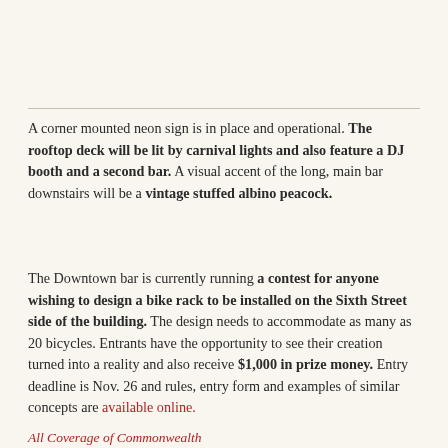A corner mounted neon sign is in place and operational. The rooftop deck will be lit by carnival lights and also feature a DJ booth and a second bar. A visual accent of the long, main bar downstairs will be a vintage stuffed albino peacock.
The Downtown bar is currently running a contest for anyone wishing to design a bike rack to be installed on the Sixth Street side of the building. The design needs to accommodate as many as 20 bicycles. Entrants have the opportunity to see their creation turned into a reality and also receive $1,000 in prize money. Entry deadline is Nov. 26 and rules, entry form and examples of similar concepts are available online.
All Coverage of Commonwealth [ELV...]